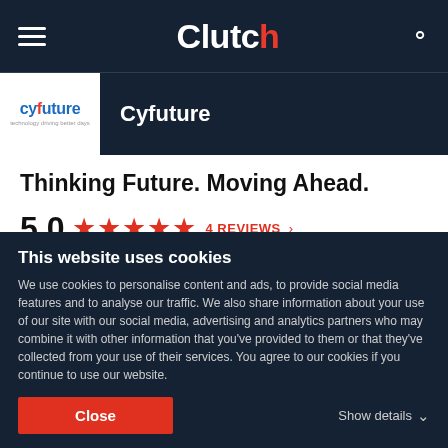Clutch
Cyfuture
Thinking Future. Moving Ahead.
5.0  ★★★★★  4 REVIEWS
Cyfuture is a leading provider of call center, software development, data center, cloud and outsourced support services to clients in e-commerce, retail, information...
This website uses cookies
We use cookies to personalise content and ads, to provide social media features and to analyse our traffic. We also share information about your use of our site with our social media, advertising and analytics partners who may combine it with other information that you've provided to them or that they've collected from your use of their services. You agree to our cookies if you continue to use our website.
Close    Show details